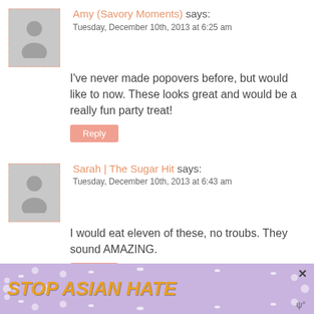Amy (Savory Moments) says: Tuesday, December 10th, 2013 at 6:25 am
I've never made popovers before, but would like to now. These looks great and would be a really fun party treat!
Reply
Sarah | The Sugar Hit says: Tuesday, December 10th, 2013 at 6:43 am
I would eat eleven of these, no troubs. They sound AMAZING.
Reply
Barbara says:
[Figure (infographic): Stop Asian Hate advertisement banner with purple floral background and cartoon character]